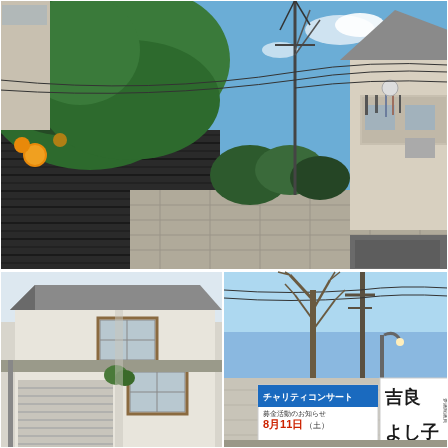[Figure (photo): Collage of two Japanese neighborhood street photos. Top photo: a citrus tree with orange fruits growing alongside a dark corrugated metal wall, with a concrete block wall, shrubs, utility poles with wires, and a residential building with laundry on a balcony visible in the background under a blue sky. Bottom left photo: a two-story Japanese residential house with a hip roof, garage with roll-up shutter, and a small garden visible. Bottom right photo: a bare winter tree next to utility poles and wires against a blue sky, with a concrete wall in the foreground bearing Japanese signs reading 'チャリティコンサート 8月11日' and '吉良よし子'.]